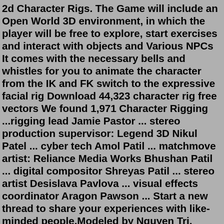2d Character Rigs. The Game will include an Open World 3D environment, in which the player will be free to explore, start exercises and interact with objects and Various NPCs It comes with the necessary bells and whistles for you to animate the character from the IK and FK switch to the expressive facial rig Download 44,323 character rig free vectors We found 1,971 Character Rigging ...rigging lead Jamie Pastor ... stereo production supervisor: Legend 3D Nikul Patel ... cyber tech Amol Patil ... matchmove artist: Reliance Media Works Bhushan Patil ... digital compositor Shreyas Patil ... stereo artist Desislava Pavlova ... visual effects coordinator Aragon Pawson ... Start a new thread to share your experiences with like-minded people.Modeled by Nguyen Tri, Rigged by Truong. Download Conan Maya Rig here: https://gumroad.com/l/conanrig Happy animating! - Truong Houdini lets you make creative decisions deep into production as changes made to Houdini nodes cascade through the network to create a new and unique result. This directability is retained...